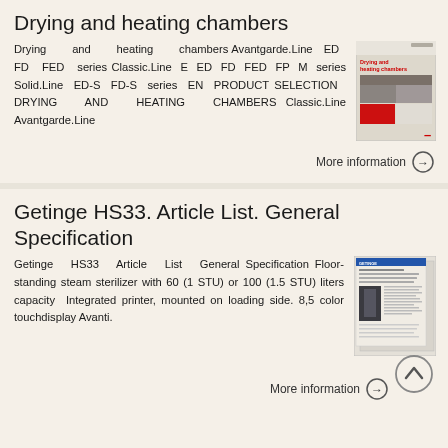Drying and heating chambers
Drying and heating chambers Avantgarde.Line ED FD FED series Classic.Line E ED FD FED FP M series Solid.Line ED-S FD-S series EN PRODUCT SELECTION DRYING AND HEATING CHAMBERS Classic.Line Avantgarde.Line
[Figure (photo): Book cover of Drying and heating chambers product selection brochure with red accent and images of chambers]
More information →
Getinge HS33. Article List. General Specification
Getinge HS33 Article List General Specification Floor-standing steam sterilizer with 60 (1 STU) or 100 (1.5 STU) liters capacity Integrated printer, mounted on loading side. 8,5 color touchdisplay Avanti.
[Figure (photo): Document pages showing Getinge HS33 article list and general specification sheets]
More information →